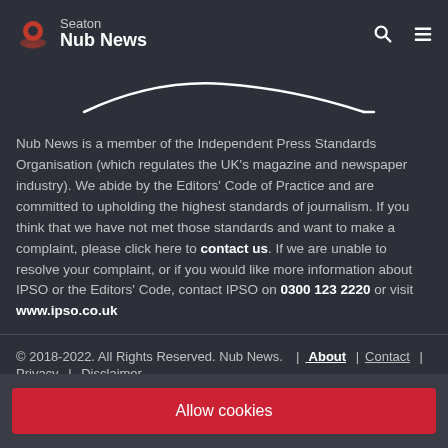Seaton Nub News
[Figure (illustration): IPSO arc/smile logo outline in white on dark background]
Nub News is a member of the Independent Press Standards Organisation (which regulates the UK's magazine and newspaper industry). We abide by the Editors' Code of Practice and are committed to upholding the highest standards of journalism. If you think that we have not met those standards and want to make a complaint, please click here to contact us. If we are unable to resolve your complaint, or if you would like more information about IPSO or the Editors' Code, contact IPSO on 0300 123 2220 or visit www.ipso.co.uk
© 2018-2022. All Rights Reserved. Nub News. | About | Contact | Privacy | Disclaimer
Allow cookies